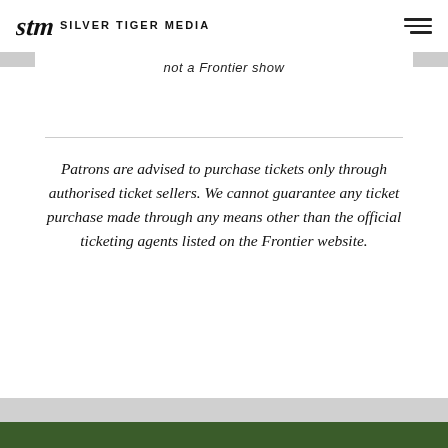Silver Tiger Media
not a Frontier show
Patrons are advised to purchase tickets only through authorised ticket sellers. We cannot guarantee any ticket purchase made through any means other than the official ticketing agents listed on the Frontier website.
Read More